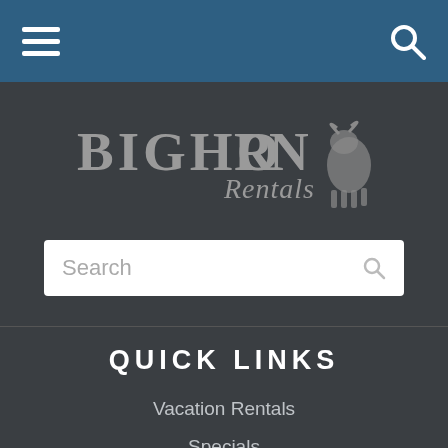Navigation bar with hamburger menu and search icon
[Figure (logo): Bighorn Rentals logo with stylized text and bighorn sheep silhouette on dark background]
Search
QUICK LINKS
Vacation Rentals
Specials
Area Info
Home